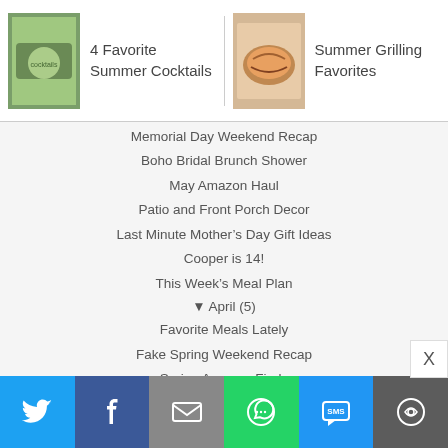[Figure (photo): Book/magazine cover with cocktails image on the left nav item]
4 Favorite Summer Cocktails
[Figure (photo): Grilled food plate image on the right nav item]
Summer Grilling Favorites
Memorial Day Weekend Recap
Boho Bridal Brunch Shower
May Amazon Haul
Patio and Front Porch Decor
Last Minute Mother’s Day Gift Ideas
Cooper is 14!
This Week’s Meal Plan
▼ April (5)
Favorite Meals Lately
Fake Spring Weekend Recap
Spring Amazon Finds
Easter Weekend Wrap-Up + This Weeks Meal Plan
Walmart Swim + Beach
▼ March (3)
Petoskey + Northern Michigan Travel Guide
[Figure (infographic): Social sharing bottom bar with Twitter, Facebook, Email, WhatsApp, SMS, and More buttons]